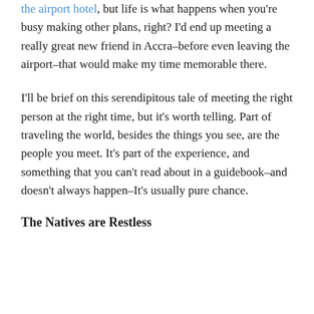the airport hotel, but life is what happens when you're busy making other plans, right? I'd end up meeting a really great new friend in Accra–before even leaving the airport–that would make my time memorable there.
I'll be brief on this serendipitous tale of meeting the right person at the right time, but it's worth telling. Part of traveling the world, besides the things you see, are the people you meet. It's part of the experience, and something that you can't read about in a guidebook–and doesn't always happen–It's usually pure chance.
The Natives are Restless